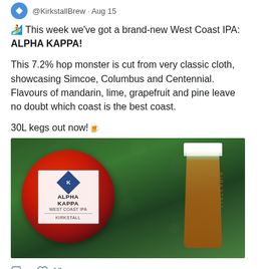@KirkstallBrew · Aug 15
🏄 This week we've got a brand-new West Coast IPA: ALPHA KAPPA!
This 7.2% hop monster is cut from very classic cloth, showcasing Simcoe, Columbus and Centennial. Flavours of mandarin, lime, grapefruit and pine leave no doubt which coast is the best coast.
30L kegs out now!🍻
[Figure (photo): Photo of Alpha Kappa West Coast IPA beer mat (circular, red/orange textured) alongside a pint glass of golden beer with white foam head, set against a green bokeh background. The beer mat label reads ALPHA KAPPA WEST COAST IPA KIRKSTALL.]
💬  ❤ 10